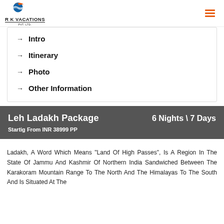R K VACATIONS PVT. LTD.
Intro
Itinerary
Photo
Other Information
Leh Ladakh Package
6 Nights \ 7 Days
Startig From INR 38999 PP
Ladakh, A Word Which Means "Land Of High Passes", Is A Region In The State Of Jammu And Kashmir Of Northern India Sandwiched Between The Karakoram Mountain Range To The North And The Himalayas To The South And Is Situated At The